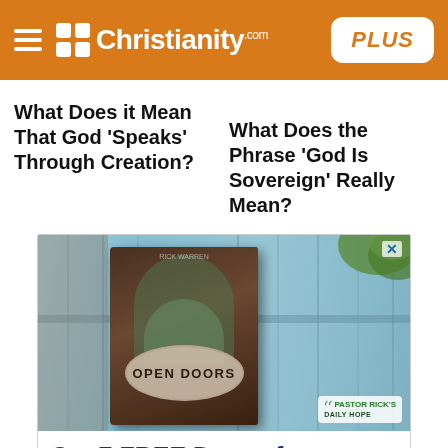Christianity.com PLUS
What Does it Mean That God 'Speaks' Through Creation?
What Does the Phrase 'God Is Sovereign' Really Mean?
[Figure (photo): Advertisement showing a book titled 'Open Doors' by Pastor Rick's Daily Hope, displayed against a rustic blue wooden fence background with greenery. A close (X) button is in the top right corner.]
Get 7 FREE Days of Pastor Rick Warren's